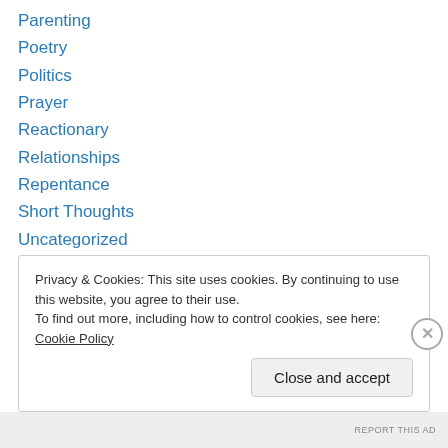Parenting
Poetry
Politics
Prayer
Reactionary
Relationships
Repentance
Short Thoughts
Uncategorized
Walking in the Way
Weaving 101
Wisdom
Privacy & Cookies: This site uses cookies. By continuing to use this website, you agree to their use.
To find out more, including how to control cookies, see here: Cookie Policy
Close and accept
REPORT THIS AD